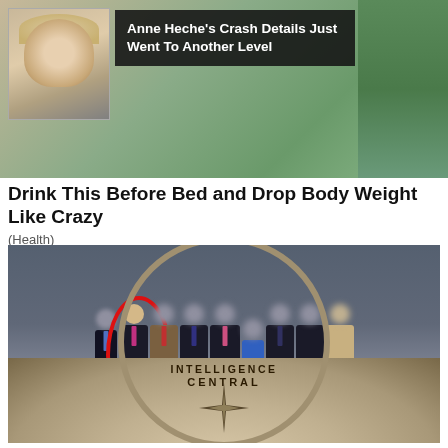[Figure (photo): News thumbnail showing a woman's portrait on the left with a dark overlay banner reading 'Anne Heche's Crash Details Just Went To Another Level' on a green/outdoor background]
Drink This Before Bed and Drop Body Weight Like Crazy
(Health)
[Figure (photo): Group photo of approximately 10 people standing in the CIA headquarters lobby in front of the Central Intelligence Agency seal on the floor. The faces of most people are blurred/redacted. One person on the left is circled in red and is visible.]